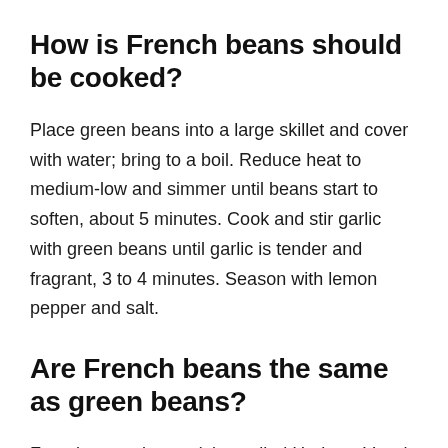How is French beans should be cooked?
Place green beans into a large skillet and cover with water; bring to a boil. Reduce heat to medium-low and simmer until beans start to soften, about 5 minutes. Cook and stir garlic with green beans until garlic is tender and fragrant, 3 to 4 minutes. Season with lemon pepper and salt.
Are French beans the same as green beans?
French green beans (also called Haricots Verts) are